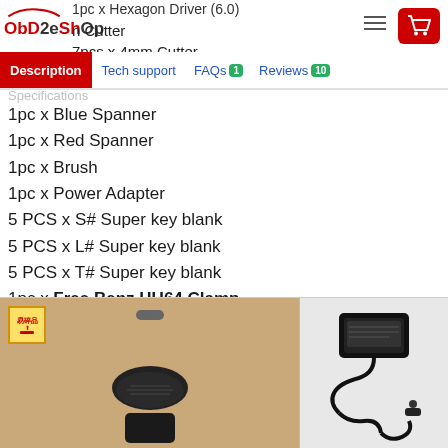OBD2eShOp
1pc x Hexagon Driver (6.0)
n Cutter
7pcs x 4mm Cutter
Specifications
1pc x Blue Spanner
1pc x Red Spanner
1pc x Brush
1pc x Power Adapter
5 PCS x S# Super key blank
5 PCS x L# Super key blank
5 PCS x T# Super key blank
1pc x Free Benz HU64 Clamp
[Figure (photo): Product packaging box (brown/tan shopping bag with fragile sticker and handle hole) showing key cutting machine device and power adapter/cable accessories]
[Figure (photo): Power adapter and cable for the key cutting machine]